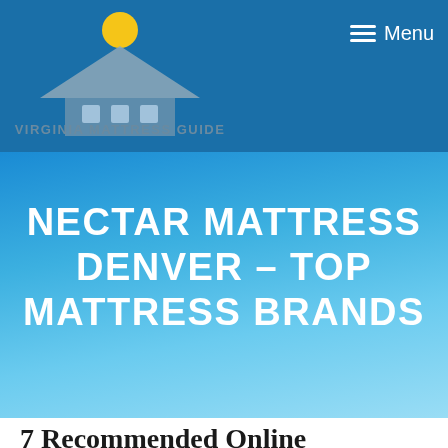[Figure (logo): Virginia Mattress Guide logo with house/roof icon and yellow sun above it, text reads VIRGINIA MATTRESS GUIDE in blue-grey letters]
≡  Menu
NECTAR MATTRESS DENVER – TOP MATTRESS BRANDS
7 Recommended Online